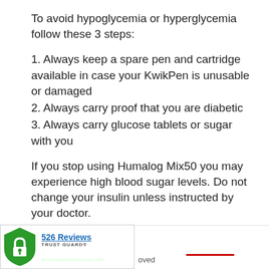To avoid hypoglycemia or hyperglycemia follow these 3 steps:
1. Always keep a spare pen and cartridge available in case your KwikPen is unusable or damaged
2. Always carry proof that you are diabetic
3. Always carry glucose tablets or sugar with you
If you stop using Humalog Mix50 you may experience high blood sugar levels. Do not change your insulin unless instructed by your doctor.
If you have any further questions on the use of this product, ask your doctor or pharmacist.
[Figure (logo): Trust Guard Secured badge with shield icon and '526 Reviews' text above]
approved